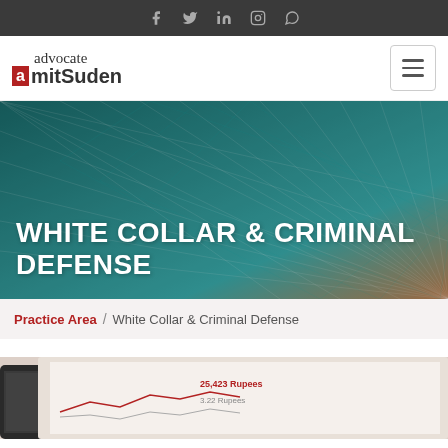Social media icons: Facebook, Twitter, LinkedIn, Instagram, WhatsApp
[Figure (logo): Advocate AmitSuden logo with handwritten 'advocate' above bold 'amitSuden' text with red box around 'a']
WHITE COLLAR & CRIMINAL DEFENSE
Practice Area / White Collar & Criminal Defense
[Figure (photo): Partial photo showing a smartphone and tablet/screen with financial data visible]